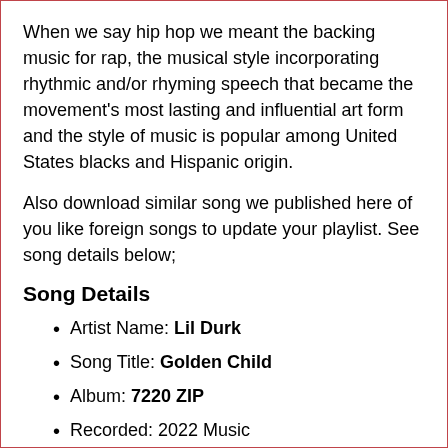When we say hip hop we meant the backing music for rap, the musical style incorporating rhythmic and/or rhyming speech that became the movement's most lasting and influential art form and the style of music is popular among United States blacks and Hispanic origin.
Also download similar song we published here of you like foreign songs to update your playlist. See song details below;
Song Details
Artist Name: Lil Durk
Song Title: Golden Child
Album: 7220 ZIP
Recorded: 2022 Music